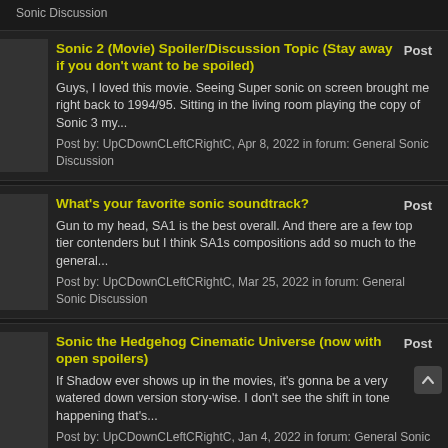Sonic Discussion
Sonic 2 (Movie) Spoiler/Discussion Topic (Stay away if you don't want to be spoiled)
Guys, I loved this movie. Seeing Super sonic on screen brought me right back to 1994/95. Sitting in the living room playing the copy of Sonic 3 my...
Post by: UpCDownCLeftCRightC, Apr 8, 2022 in forum: General Sonic Discussion
What's your favorite sonic soundtrack?
Gun to my head, SA1 is the best overall. And there are a few top tier contenders but I think SA1s compositions add so much to the general...
Post by: UpCDownCLeftCRightC, Mar 25, 2022 in forum: General Sonic Discussion
Sonic the Hedgehog Cinematic Universe (now with open spoilers)
If Shadow ever shows up in the movies, it's gonna be a very watered down version story-wise. I don't see the shift in tone happening that's...
Post by: UpCDownCLeftCRightC, Jan 4, 2022 in forum: General Sonic Discussion